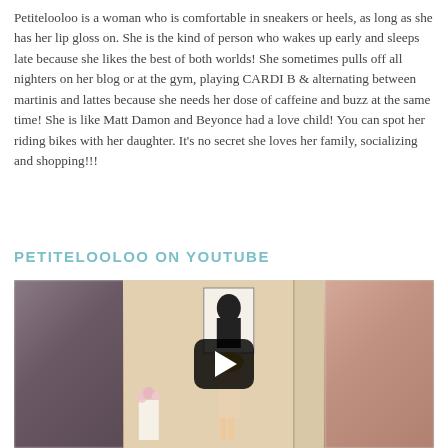Petitelooloo is a woman who is comfortable in sneakers or heels, as long as she has her lip gloss on. She is the kind of person who wakes up early and sleeps late because she likes the best of both worlds! She sometimes pulls off all nighters on her blog or at the gym, playing CARDI B & alternating between martinis and lattes because she needs her dose of caffeine and buzz at the same time! She is like Matt Damon and Beyonce had a love child! You can spot her riding bikes with her daughter. It's no secret she loves her family, socializing and shopping!!!
PETITELOOLOO ON YOUTUBE
[Figure (screenshot): Embedded YouTube video player showing a woman standing in a room with an Audrey Hepburn wall art print. A large play button is overlaid in the center. The video thumbnail has three panels: blurred left, center showing woman and room, blurred right.]